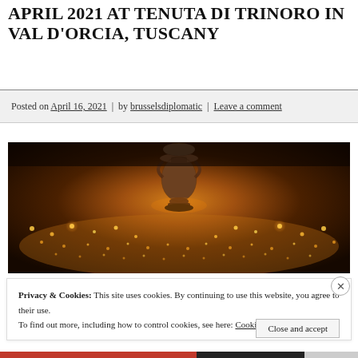APRIL 2021 AT TENUTA DI TRINORO IN VAL D'ORCIA, TUSCANY
Posted on April 16, 2021 | by brusselsdiplomatic | Leave a comment
[Figure (photo): Night-time vineyard scene with hundreds of small candles/heaters glowing in rows across a dark landscape, with a large stone urn in the foreground center, warm orange glow throughout.]
Privacy & Cookies: This site uses cookies. By continuing to use this website, you agree to their use.
To find out more, including how to control cookies, see here: Cookie Policy
Close and accept